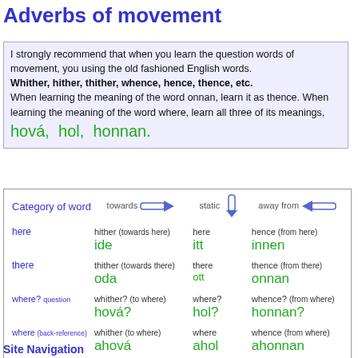Adverbs of movement
I strongly recommend that when you learn the question words of movement, you using the old fashioned English words. Whither, hither, thither, whence, hence, thence, etc. When learning the meaning of the word onnan, learn it as thence. When learning the meaning of the word where, learn all three of its meanings, hová, hol, honnan.
| Category of word | towards → | static ↓ | away from → |
| --- | --- | --- | --- |
| here | hither (towards here)
ide | here
itt | hence (from here)
innen |
| there | thither (towards there)
oda | there
ott | thence (from there)
onnan |
| where? question | whither? (to where)
hová? | where?
hol? | whence? (from where)
honnan? |
| where (back-reference) | whither (to where)
ahová | where
ahol | whence (from where)
ahonnan |
Site Navigation